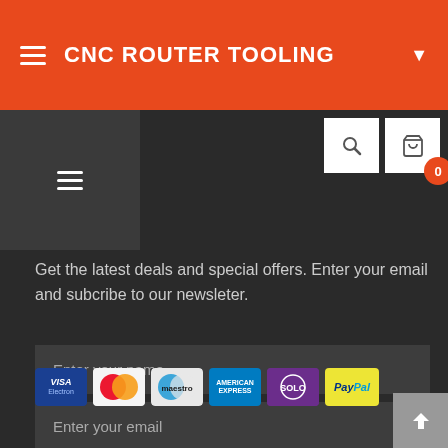CNC ROUTER TOOLING
Get the latest deals and special offers. Enter your email and subcribe to our newsleter.
[Figure (screenshot): Newsletter subscription form with name input, email input, and Subscribe! button]
[Figure (infographic): Payment method icons: Visa Electron, MasterCard, Maestro, American Express, Solo, PayPal]